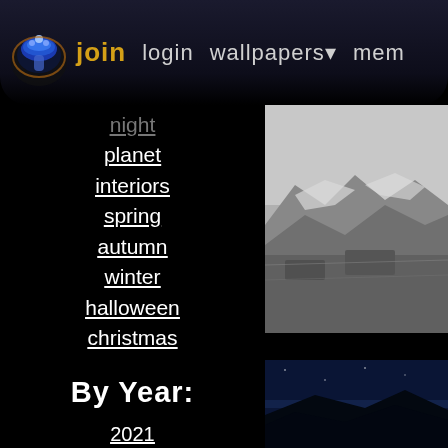join  login  wallpapers▾  mem
night
planet
interiors
spring
autumn
winter
halloween
christmas
By Year:
2021
2020
2019
2018
2017
[Figure (photo): Monochrome ruins/landscape thumbnail in top-right]
[Figure (photo): Dark blue landscape/silhouette thumbnail in bottom-right]